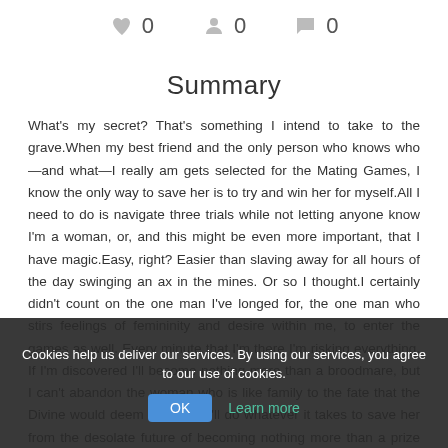0  0  0
Summary
What's my secret? That's something I intend to take to the grave.When my best friend and the only person who knows who—and what—I really am gets selected for the Mating Games, I know the only way to save her is to try and win her for myself.All I need to do is navigate three trials while not letting anyone know I'm a woman, or, and this might be even more important, that I have magic.Easy, right? Easier than slaving away for all hours of the day swinging an ax in the mines. Or so I thought.I certainly didn't count on the one man I've longed for, the one man who stirs feelings of femininity and desire within me, to enter the games as well. Every minute that I'm there I'm risking everything. If I'm discovered I'll become nothing more than a broodmare, but I can't abandon the woman who is like family to the fate that the Divine would deem she have.I'll do whatever it takes to save her from the desolate future of becoming nothing more than a prize for the victor of the games. The only question is: Will my heart still be intact by the time the trials are over? Or will I have condemned us both to a fate worse than death? The Mating Games.
Cookies help us deliver our services. By using our services, you agree to our use of cookies.
OK  Learn more